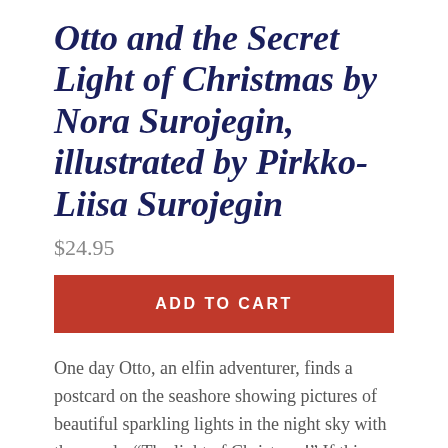Otto and the Secret Light of Christmas by Nora Surojegin, illustrated by Pirkko-Liisa Surojegin
$24.95
ADD TO CART
One day Otto, an elfin adventurer, finds a postcard on the seashore showing pictures of beautiful sparkling lights in the night sky with the words, “The light of Christmas!” If this “Christmas” can brighten even the gloomiest Finnish winter, Otto decides he must find it. So he heads north, trudging through dark forests and skiing towards the fells of Lapland, in search of the secret light of Christmas.